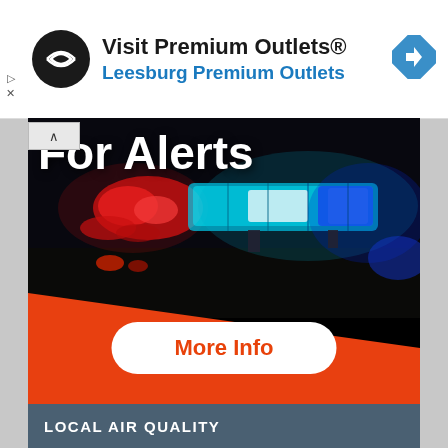[Figure (infographic): Advertisement banner for Premium Outlets with black circular logo, text 'Visit Premium Outlets® Leesburg Premium Outlets', and a blue navigation/directions diamond icon]
[Figure (infographic): Police emergency lights image (red, blue, cyan lights on dark background) with white bold text 'For Alerts' overlaid at top left, diagonal orange section at bottom with a white rounded-rectangle button labeled 'More Info' in orange bold text]
LOCAL AIR QUALITY